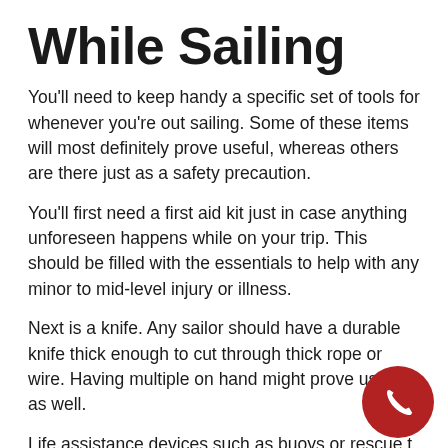While Sailing
You'll need to keep handy a specific set of tools for whenever you're out sailing. Some of these items will most definitely prove useful, whereas others are there just as a safety precaution.
You'll first need a first aid kit just in case anything unforeseen happens while on your trip. This should be filled with the essentials to help with any minor to mid-level injury or illness.
Next is a knife. Any sailor should have a durable knife thick enough to cut through thick rope or wire. Having multiple on hand might prove useful as well.
Life assistance devices such as buoys or rescue t… should be used just in case someone goes overb… On the topic of going overboard, a whistle or d…light (or a better attached to hat) may signify a b…